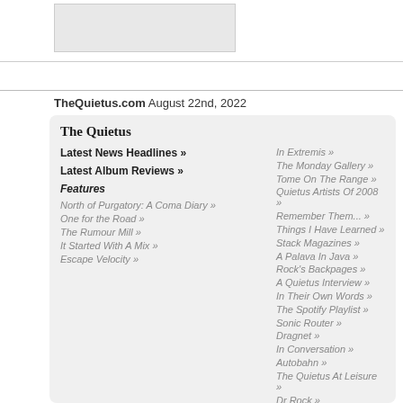[Figure (screenshot): Partial screenshot of a webpage with a gray image box at top]
TheQuietus.com August 22nd, 2022
The Quietus
Latest News Headlines »
Latest Album Reviews »
Features
North of Purgatory: A Coma Diary »
One for the Road »
The Rumour Mill »
It Started With A Mix »
Escape Velocity »
In Extremis »
The Monday Gallery »
Tome On The Range »
Quietus Artists Of 2008 »
Remember Them... »
Things I Have Learned »
Stack Magazines »
A Palava In Java »
Rock's Backpages »
A Quietus Interview »
In Their Own Words »
The Spotify Playlist »
Sonic Router »
Dragnet »
In Conversation »
Autobahn »
The Quietus At Leisure »
Dr Rock »
Columnus Metallicus »